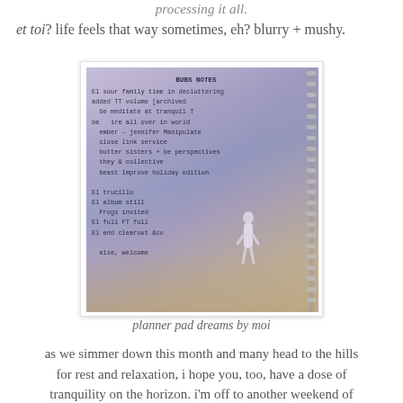processing it all.
et toi? life feels that way sometimes, eh? blurry + mushy.
[Figure (photo): A photograph of a notebook page with handwritten notes/dreams list, overlaid on or placed in front of an outdoor scene with a person standing in white dress near waterside structures. The image has a vintage, faded purple-blue tint.]
planner pad dreams by moi
as we simmer down this month and many head to the hills for rest and relaxation, i hope you, too, have a dose of tranquility on the horizon. i'm off to another weekend of